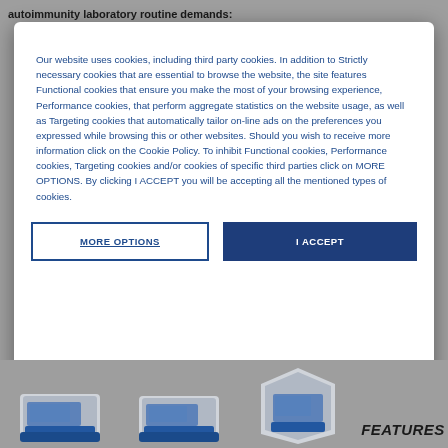autoimmunity laboratory routine demands:
Our website uses cookies, including third party cookies. In addition to Strictly necessary cookies that are essential to browse the website, the site features Functional cookies that ensure you make the most of your browsing experience, Performance cookies, that perform aggregate statistics on the website usage, as well as Targeting cookies that automatically tailor on-line ads on the preferences you expressed while browsing this or other websites. Should you wish to receive more information click on the Cookie Policy. To inhibit Functional cookies, Performance cookies, Targeting cookies and/or cookies of specific third parties click on MORE OPTIONS. By clicking I ACCEPT you will be accepting all the mentioned types of cookies.
MORE OPTIONS
I ACCEPT
[Figure (photo): Three blue and white laboratory autoimmunity testing machines shown side by side at bottom of page]
FEATURES